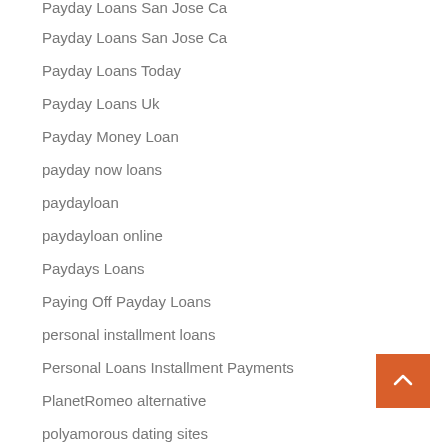Payday Loans San Jose Ca
Payday Loans Today
Payday Loans Uk
Payday Money Loan
payday now loans
paydayloan
paydayloan online
Paydays Loans
Paying Off Payday Loans
personal installment loans
Personal Loans Installment Payments
PlanetRomeo alternative
polyamorous dating sites
Porn With Big Tits
Pornstar Cam